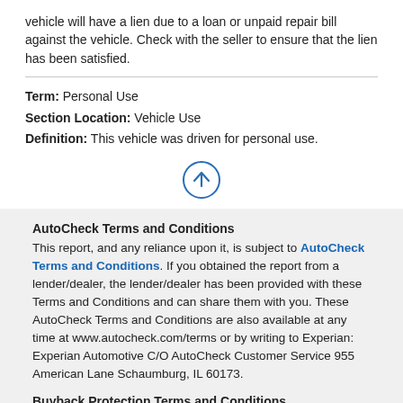vehicle will have a lien due to a loan or unpaid repair bill against the vehicle. Check with the seller to ensure that the lien has been satisfied.
Term: Personal Use
Section Location: Vehicle Use
Definition: This vehicle was driven for personal use.
[Figure (other): Up arrow icon in a circle, blue outline]
AutoCheck Terms and Conditions
This report, and any reliance upon it, is subject to AutoCheck Terms and Conditions. If you obtained the report from a lender/dealer, the lender/dealer has been provided with these Terms and Conditions and can share them with you. These AutoCheck Terms and Conditions are also available at any time at www.autocheck.com/terms or by writing to Experian: Experian Automotive C/O AutoCheck Customer Service 955 American Lane Schaumburg, IL 60173.
Buyback Protection Terms and Conditions
This vehicle (1G1YW3DW8C5106357) qualifies for AutoCheck Buyback Protection. If you obtained the report from a dealer, the dealer has been provided with the terms and can share them with you. These Buyback Protection Terms and Conditions are